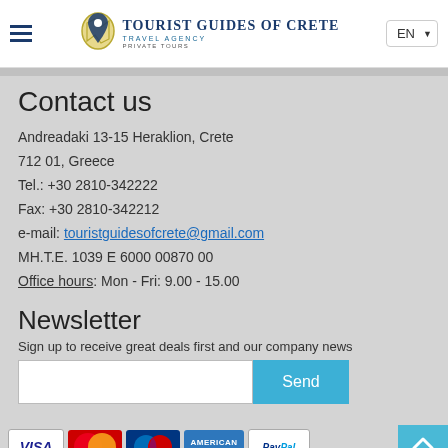Tourist Guides of Crete - Travel Agency Private Tours
Contact us
Andreadaki 13-15 Heraklion, Crete
712 01, Greece
Tel.: +30 2810-342222
Fax: +30 2810-342212
e-mail: touristguidesofcrete@gmail.com
MH.T.E. 1039 E 6000 00870 00
Office hours: Mon - Fri: 9.00 - 15.00
Newsletter
Sign up to receive great deals first and our company news
[Figure (other): Payment method logos: VISA, Mastercard, Maestro, American Express, PayPal]